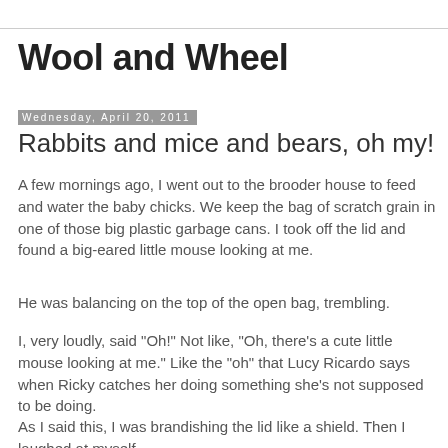Wool and Wheel
Wednesday, April 20, 2011
Rabbits and mice and bears, oh my!
A few mornings ago, I went out to the brooder house to feed and water the baby chicks. We keep the bag of scratch grain in one of those big plastic garbage cans. I took off the lid and found a big-eared little mouse looking at me.
He was balancing on the top of the open bag, trembling.
I, very loudly, said "Oh!" Not like, "Oh, there's a cute little mouse looking at me." Like the "oh" that Lucy Ricardo says when Ricky catches her doing something she's not supposed to be doing.
As I said this, I was brandishing the lid like a shield. Then I laughed at myself.